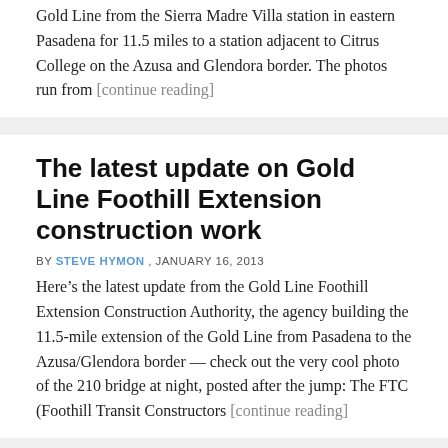Gold Line from the Sierra Madre Villa station in eastern Pasadena for 11.5 miles to a station adjacent to Citrus College on the Azusa and Glendora border. The photos run from [continue reading]
The latest update on Gold Line Foothill Extension construction work
BY STEVE HYMON , JANUARY 16, 2013
Here’s the latest update from the Gold Line Foothill Extension Construction Authority, the agency building the 11.5-mile extension of the Gold Line from Pasadena to the Azusa/Glendora border — check out the very cool photo of the 210 bridge at night, posted after the jump: The FTC (Foothill Transit Constructors [continue reading]
Gold Line Foothill Extension Bridge is complete!
BY STEVE HYMON , DECEMBER 12, 2012